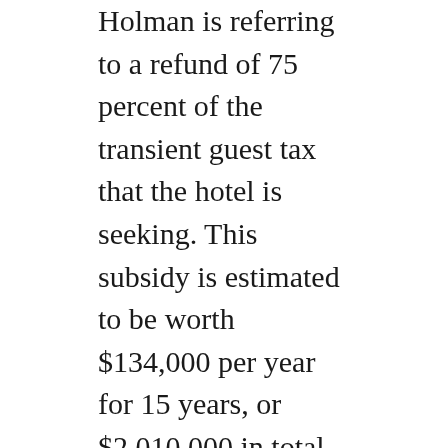Holman is referring to a refund of 75 percent of the transient guest tax that the hotel is seeking. This subsidy is estimated to be worth $134,000 per year for 15 years, or $2,010,000 in total.
Despite her recognition of the will of the people, editorialist Holman encourages the Wichita City Council to proceed in a direction opposite. Settling for something other than the best, by her own admission.
It’s the “reality,” Holman says. She trusts the arguments of developers who have a $15 million motive to gain various forms of taxpayer subsidy. She says there is presently